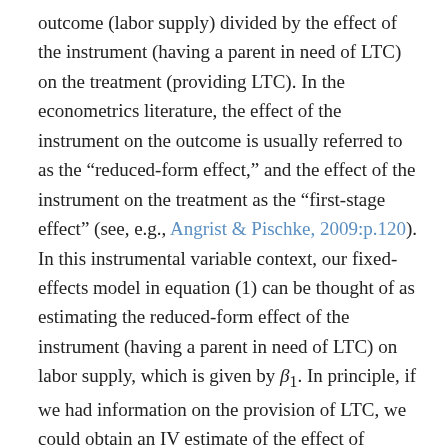outcome (labor supply) divided by the effect of the instrument (having a parent in need of LTC) on the treatment (providing LTC). In the econometrics literature, the effect of the instrument on the outcome is usually referred to as the "reduced-form effect," and the effect of the instrument on the treatment as the "first-stage effect" (see, e.g., Angrist & Pischke, 2009:p.120). In this instrumental variable context, our fixed-effects model in equation (1) can be thought of as estimating the reduced-form effect of the instrument (having a parent in need of LTC) on labor supply, which is given by β₁. In principle, if we had information on the provision of LTC, we could obtain an IV estimate of the effect of providing LTC on labor supply by dividing β₁ by the effect of having a parent in